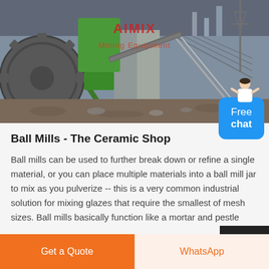[Figure (photo): Industrial mining equipment scene showing large machinery, conveyors, concrete pillars, and scaffolding at a construction/mining site. A green and red AIMIX Mining Equipment logo/watermark is overlaid on the image. A customer service representative illustration appears in the lower right of the image.]
Ball Mills - The Ceramic Shop
Ball mills can be used to further break down or refine a single material, or you can place multiple materials into a ball mill jar to mix as you pulverize -- this is a very common industrial solution for mixing glazes that require the smallest of mesh sizes. Ball mills basically function like a mortar and pestle
Get a Quote
WhatsApp